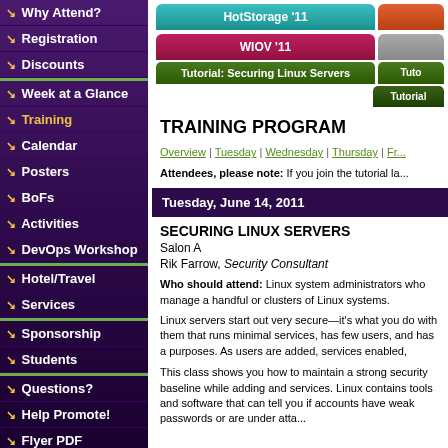Why Attend?
Registration
Discounts
Week at a Glance
Training
Calendar
Posters
BoFs
Activities
DevOps Workshop
Hotel/Travel
Services
Sponsorship
Students
Questions?
Help Promote!
Flyer PDF
[Figure (screenshot): Navigation tabs: HotStorage '11 (teal), WIOV '11 (pink), Tutorial: Securing Linux Servers (dark green), and partial orange and gray tabs]
TRAINING PROGRAM
Overview | Tuesday | Wednesday | Thursday | Fr...
Attendees, please note: If you join the tutorial la...
Tuesday, June 14, 2011
SECURING LINUX SERVERS
Salon A
Rik Farrow, Security Consultant
Who should attend: Linux system administrators who manage a handful or clusters of Linux systems.
Linux servers start out very secure—it's what you do with them that creates vulnerabilities. A newly installed Linux system runs minimal services, has few users, and has a single purpose. As users are added, services enabled,...
This class shows you how to maintain a strong security baseline while adding accounts and services. Linux contains tools and software that can tell you if accounts have weak passwords or are under atta...